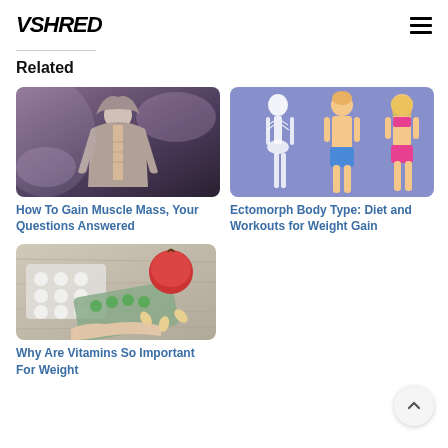VSHRED
Related
[Figure (photo): Man in a gym wearing a hoodie with abs visible, dark moody gym background]
How To Gain Muscle Mass, Your Questions Answered
[Figure (illustration): Ectomorph body type illustration showing a skeleton figure, a male and a female figure on purple background]
Ectomorph Body Type: Diet and Workouts for Weight Gain
[Figure (photo): Vitamins and supplements with an apple, tablets in blister packs on a wooden surface]
Why Are Vitamins So Important For Weight